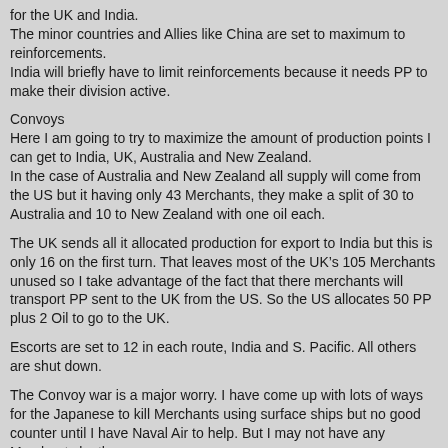for the UK and India.
The minor countries and Allies like China are set to maximum to reinforcements.
India will briefly have to limit reinforcements because it needs PP to make their division active.
Convoys
Here I am going to try to maximize the amount of production points I can get to India, UK, Australia and New Zealand.
In the case of Australia and New Zealand all supply will come from the US but it having only 43 Merchants, they make a split of 30 to Australia and 10 to New Zealand with one oil each.
The UK sends all it allocated production for export to India but this is only 16 on the first turn. That leaves most of the UK’s 105 Merchants unused so I take advantage of the fact that there merchants will transport PP sent to the UK from the US. So the US allocates 50 PP plus 2 Oil to go to the UK.
Escorts are set to 12 in each route, India and S. Pacific. All others are shut down.
The Convoy war is a major worry. I have come up with lots of ways for the Japanese to kill Merchants using surface ships but no good counter until I have Naval Air to help. But I may not have any Merchants by then.